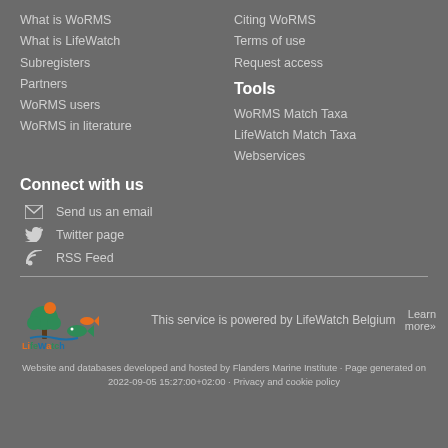What is WoRMS
What is LifeWatch
Subregisters
Partners
WoRMS users
WoRMS in literature
Citing WoRMS
Terms of use
Request access
Tools
WoRMS Match Taxa
LifeWatch Match Taxa
Webservices
Connect with us
Send us an email
Twitter page
RSS Feed
[Figure (logo): LifeWatch Belgium logo with colorful tree and fish icons]
This service is powered by LifeWatch Belgium
Learn more»
Website and databases developed and hosted by Flanders Marine Institute · Page generated on 2022-09-05 15:27:00+02:00 · Privacy and cookie policy